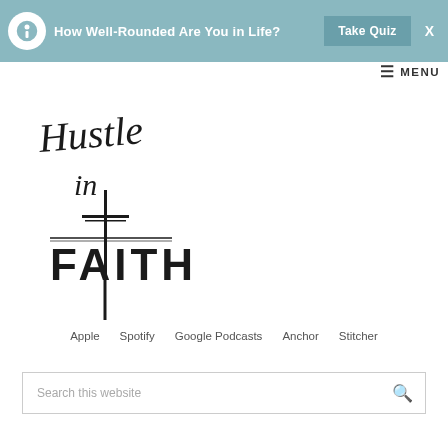[Figure (screenshot): Website header banner with quiz promotion: 'How Well-Rounded Are You in Life? Take Quiz' on a teal background with a close X button]
[Figure (logo): Hustle in Faith logo – cursive text 'Hustle in' above a cross with 'FAITH' in bold block letters]
≡ MENU
Apple
Spotify
Google Podcasts
Anchor
Stitcher
Search this website